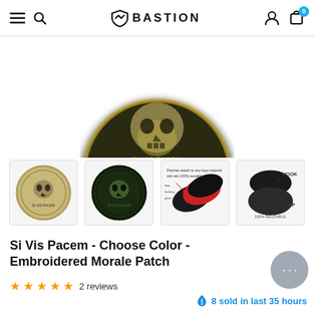BASTION — navigation bar with menu, search, logo, account, cart (0)
[Figure (photo): Main product image showing the top portion of a round Si Vis Pacem embroidered morale patch with dark background and skull design, partially cropped at top]
[Figure (photo): Thumbnail 1: tan/khaki colored round Si Vis Pacem skull morale patch]
[Figure (photo): Thumbnail 2: dark green round Si Vis Pacem skull morale patch]
[Figure (photo): Thumbnail 3: diagram showing how patches attach to loop material with labeled features]
[Figure (photo): Thumbnail 4: diagram showing HOOK side and LOOP side of velcro patch backing, labeled 100% REUSABLE]
Si Vis Pacem - Choose Color - Embroidered Morale Patch
2 reviews
8 sold in last 35 hours